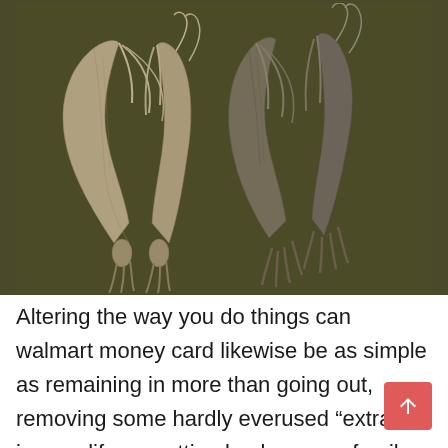[Figure (illustration): Dark olive/brown background with detailed 3D renders of dragon or bat-like wing pairs shown from front and back angles, four wings total arranged symmetrically]
Altering the way you do things can walmart money card likewise be as simple as remaining in more than going out, removing some hardly everused “extras” in your life, or cutting back on non-family activities so you can invest more time with your family.